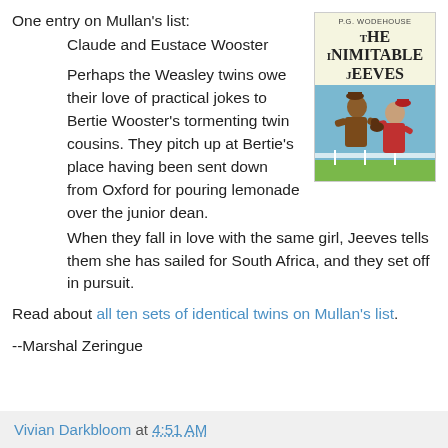One entry on Mullan's list:
Claude and Eustace Wooster
Perhaps the Weasley twins owe their love of practical jokes to Bertie Wooster's tormenting twin cousins. They pitch up at Bertie's place having been sent down from Oxford for pouring lemonade over the junior dean. When they fall in love with the same girl, Jeeves tells them she has sailed for South Africa, and they set off in pursuit.
[Figure (illustration): Book cover of 'The Inimitable Jeeves' by P.G. Wodehouse, showing two men in Edwardian dress, one in brown and one in red, in a playful tussle. Cream background with illustrated cover art.]
Read about all ten sets of identical twins on Mullan's list.
--Marshal Zeringue
Vivian Darkbloom at 4:51 AM